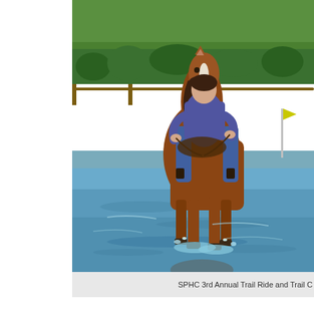[Figure (photo): A person riding a chestnut horse through shallow water (flooded area or water crossing). The rider is wearing blue jeans and a blue/purple top, leaning forward slightly. The horse has a white blaze on its face. In the background there is a metal fence/gate and green grass/vegetation. The water creates splashes and reflections. A yellow flag/marker is visible in the background on the right.]
SPHC 3rd Annual Trail Ride and Trail C